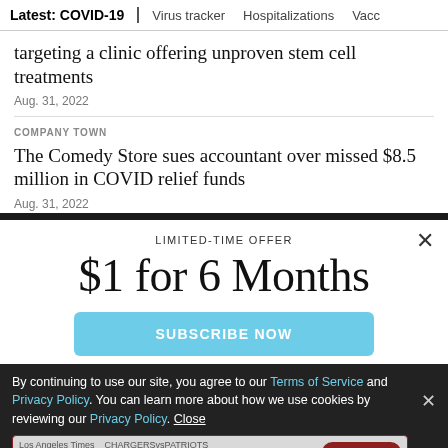Latest: COVID-19 | Virus tracker | Hospitalizations | Vacc
targeting a clinic offering unproven stem cell treatments
Aug. 31, 2022
COMPANY TOWN
The Comedy Store sues accountant over missed $8.5 million in COVID relief funds
Aug. 31, 2022
LIMITED-TIME OFFER
$1 for 6 Months
SUBSCRIBE NOW
By continuing to use our site, you agree to our Terms of Service and Privacy Policy. You can learn more about how we use cookies by reviewing our Privacy Policy. Close